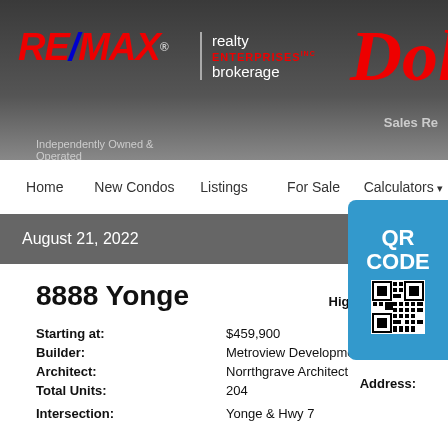[Figure (logo): RE/MAX Realty Enterprises Brokerage logo with 'Independently Owned & Operated' tagline and partial 'Dol' script text with 'Sales Re' on dark grey header]
Home | New Condos | Listings | For Sale | Calculators
August 21, 2022
8888 Yonge
| Starting at: | $459,900 | Highest Price: |
| Builder: | Metroview Developments |  |
| Architect: | Norrthgrave Architect |  |
| Total Units: | 204 | Unit Size |
| Intersection: | Yonge & Hwy 7 | Address: |